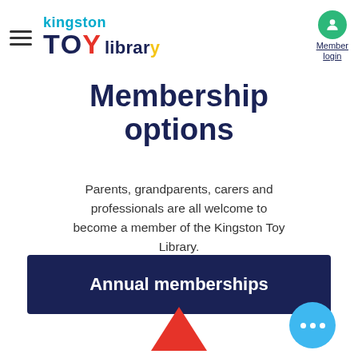[Figure (logo): Kingston Toy Library logo with hamburger menu icon on the left and Member login button with green circle icon on the right]
Membership options
Parents, grandparents, carers and professionals are all welcome to become a member of the Kingston Toy Library. Join online or come into the toy library.
Annual memberships